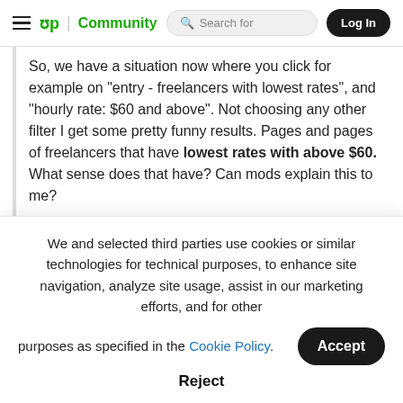up Community | Search for | Log In
So, we have a situation now where you click for example on "entry - freelancers with lowest rates", and "hourly rate: $60 and above". Not choosing any other filter I get some pretty funny results. Pages and pages of freelancers that have lowest rates with above $60. What sense does that have? Can mods explain this to me?

__________
Don't correct my grammar!
We and selected third parties use cookies or similar technologies for technical purposes, to enhance site navigation, analyze site usage, assist in our marketing efforts, and for other purposes as specified in the Cookie Policy.

Accept

Reject